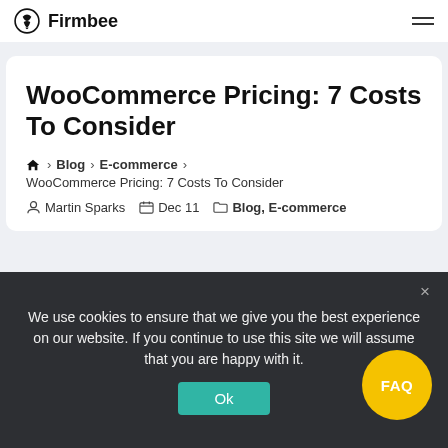Firmbee
WooCommerce Pricing: 7 Costs To Consider
Home › Blog › E-commerce › WooCommerce Pricing: 7 Costs To Consider
Martin Sparks  Dec 11  Blog, E-commerce
[Figure (photo): Photo strip at bottom of article card]
We use cookies to ensure that we give you the best experience on our website. If you continue to use this site we will assume that you are happy with it.